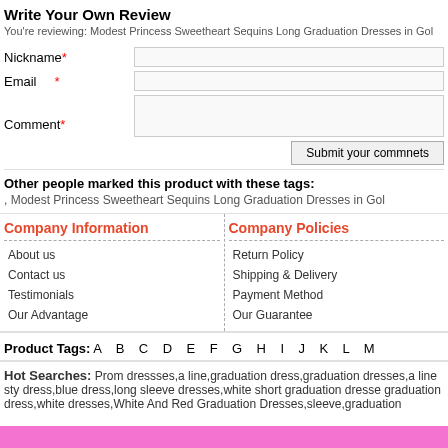Write Your Own Review
You're reviewing: Modest Princess Sweetheart Sequins Long Graduation Dresses in Gol
Nickname* [input field]
Email * [input field]
Comment* [textarea]
Submit your commnets
Other people marked this product with these tags:
, Modest Princess Sweetheart Sequins Long Graduation Dresses in Gol
Company Information
About us
Contact us
Testimonials
Our Advantage
Company Policies
Return Policy
Shipping & Delivery
Payment Method
Our Guarantee
Product Tags: A B C D E F G H I J K L M
Hot Searches: Prom dressses,a line,graduation dress,graduation dresses,a line style dress,blue dress,long sleeve dresses,white short graduation dresses graduation dress,white dresses,White And Red Graduation Dresses,sleeve,graduation